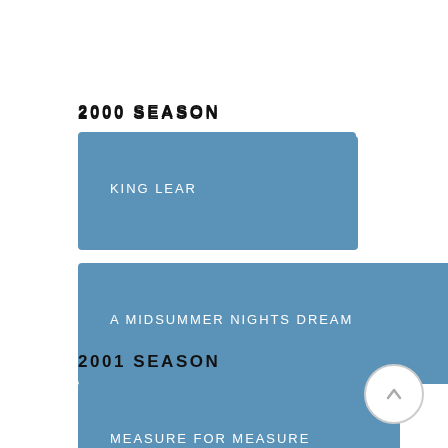2000 SEASON
KING LEAR
A MIDSUMMER NIGHTS DREAM
2001 SEASON
MEASURE FOR MEASURE